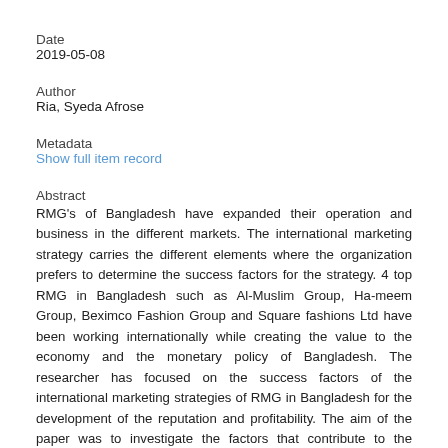Date
2019-05-08
Author
Ria, Syeda Afrose
Metadata
Show full item record
Abstract
RMG's of Bangladesh have expanded their operation and business in the different markets. The international marketing strategy carries the different elements where the organization prefers to determine the success factors for the strategy. 4 top RMG in Bangladesh such as Al-Muslim Group, Ha-meem Group, Beximco Fashion Group and Square fashions Ltd have been working internationally while creating the value to the economy and the monetary policy of Bangladesh. The researcher has focused on the success factors of the international marketing strategies of RMG in Bangladesh for the development of the reputation and profitability. The aim of the paper was to investigate the factors that contribute to the success of the business effective international marketing strategies